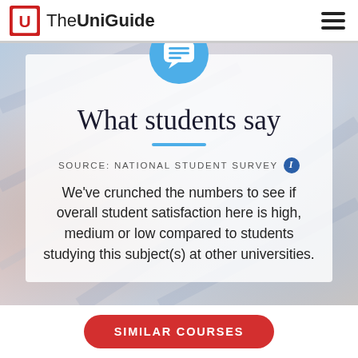The UniGuide
[Figure (screenshot): Hero section with blurred background photo of a student, white card overlay containing chat bubble icon, 'What students say' heading, blue underline, source attribution 'SOURCE: NATIONAL STUDENT SURVEY' with info icon, and descriptive text about comparing student satisfaction across universities.]
What students say
SOURCE: NATIONAL STUDENT SURVEY
We've crunched the numbers to see if overall student satisfaction here is high, medium or low compared to students studying this subject(s) at other universities.
SIMILAR COURSES